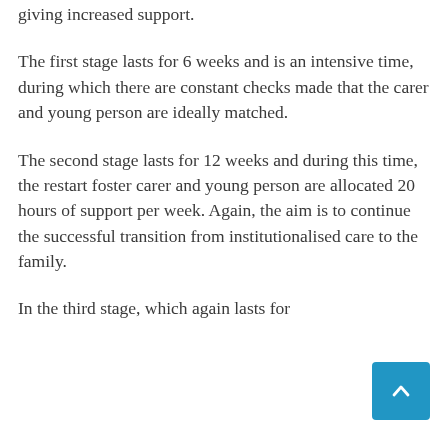giving increased support.
The first stage lasts for 6 weeks and is an intensive time, during which there are constant checks made that the carer and young person are ideally matched.
The second stage lasts for 12 weeks and during this time, the restart foster carer and young person are allocated 20 hours of support per week. Again, the aim is to continue the successful transition from institutionalised care to the family.
In the third stage, which again lasts for